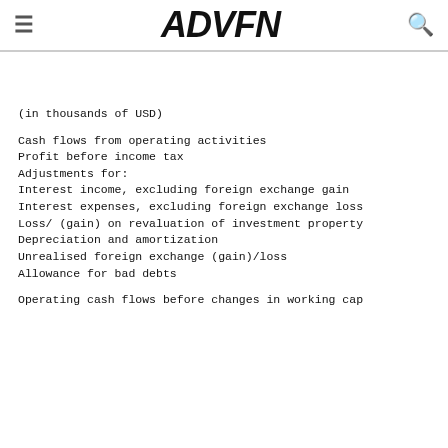ADVFN
(in thousands of USD)
Cash flows from operating activities
Profit before income tax
Adjustments for:
Interest income, excluding foreign exchange gain
Interest expenses, excluding foreign exchange loss
Loss/ (gain) on revaluation of investment property
Depreciation and amortization
Unrealised foreign exchange (gain)/loss
Allowance for bad debts
Operating cash flows before changes in working cap